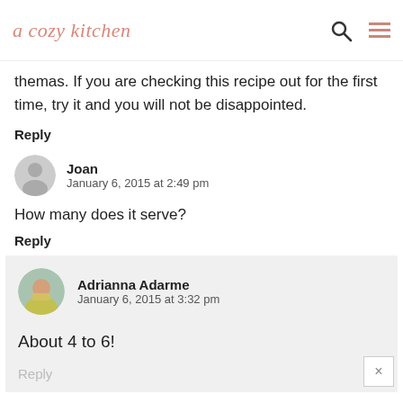a cozy kitchen
themas. If you are checking this recipe out for the first time, try it and you will not be disappointed.
Reply
Joan
January 6, 2015 at 2:49 pm
How many does it serve?
Reply
Adrianna Adarme
January 6, 2015 at 3:32 pm
About 4 to 6!
Reply